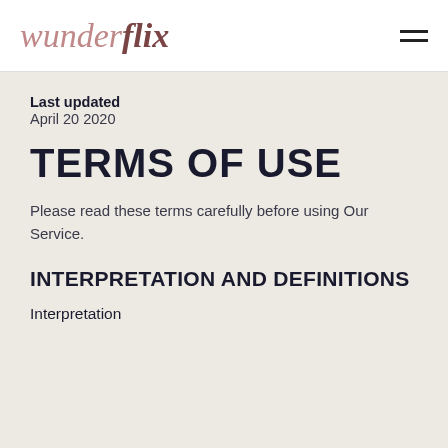wunderflix
Last updated
April 20 2020
TERMS OF USE
Please read these terms carefully before using Our Service.
INTERPRETATION AND DEFINITIONS
Interpretation